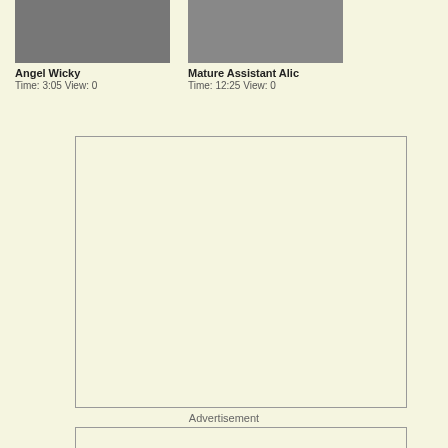[Figure (photo): Thumbnail image 1 - left side]
Angel Wicky
Time: 3:05 View: 0
[Figure (photo): Thumbnail image 2 - right side]
Mature Assistant Alic
Time: 12:25 View: 0
[Figure (other): Advertisement box 1 - large empty bordered rectangle]
Advertisement
[Figure (other): Advertisement box 2 - smaller empty bordered rectangle at bottom]